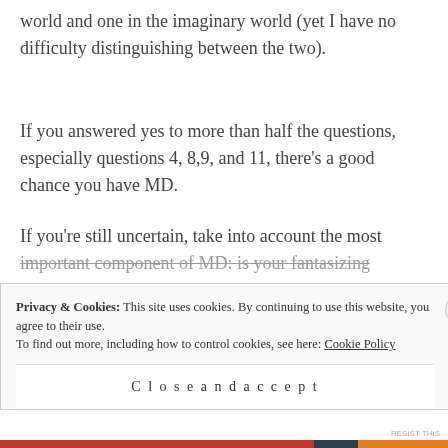world and one in the imaginary world (yet I have no difficulty distinguishing between the two).
If you answered yes to more than half the questions, especially questions 4, 8,9, and 11, there's a good chance you have MD.
If you're still uncertain, take into account the most important component of MD: is your fantasizing
Privacy & Cookies: This site uses cookies. By continuing to use this website, you agree to their use. To find out more, including how to control cookies, see here: Cookie Policy
Close and accept